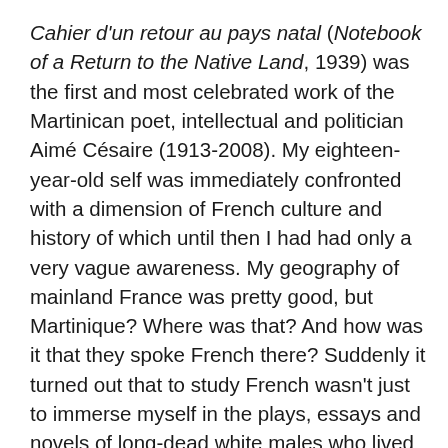Cahier d'un retour au pays natal (Notebook of a Return to the Native Land, 1939) was the first and most celebrated work of the Martinican poet, intellectual and politician Aimé Césaire (1913-2008). My eighteen-year-old self was immediately confronted with a dimension of French culture and history of which until then I had had only a very vague awareness. My geography of mainland France was pretty good, but Martinique? Where was that? And how was it that they spoke French there? Suddenly it turned out that to study French wasn't just to immerse myself in the plays, essays and novels of long-dead white males who lived and died in the Hexagon. It could also mean plunging into a rich, vibrant and unfamiliar world that I had never previously encountered. Césaire's Cahier was poetry born of the first-hand experience of colonialism, written in a heady